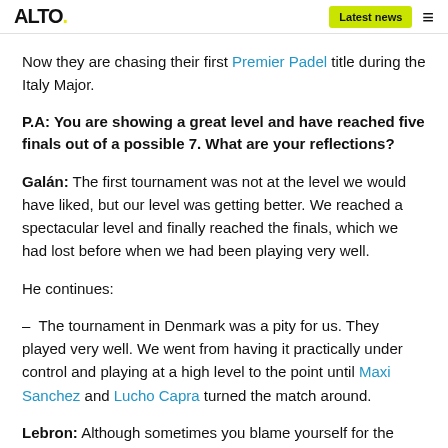ALTO. | Latest news | ≡
Now they are chasing their first Premier Padel title during the Italy Major.
P.A: You are showing a great level and have reached five finals out of a possible 7. What are your reflections?
Galán: The first tournament was not at the level we would have liked, but our level was getting better. We reached a spectacular level and finally reached the finals, which we had lost before when we had been playing very well.
He continues:
– The tournament in Denmark was a pity for us. They played very well. We went from having it practically under control and playing at a high level to the point until Maxi Sanchez and Lucho Capra turned the match around.
Lebron: Although sometimes you blame yourself for the